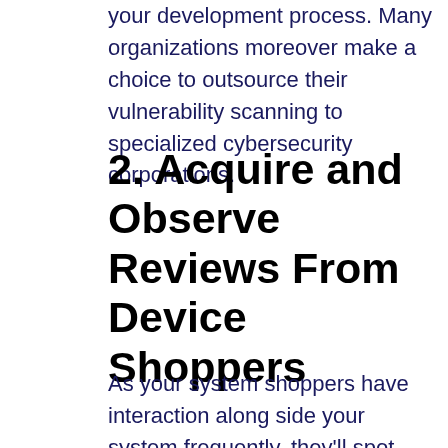your development process. Many organizations moreover make a choice to outsource their vulnerability scanning to specialized cybersecurity corporations.
2. Acquire and Observe Reviews From Device Shoppers
As your system shoppers have interaction along side your system frequently, they'll spot potential problems forward of you do. Naturally, you will have to observe your client studies for studies about suspicious